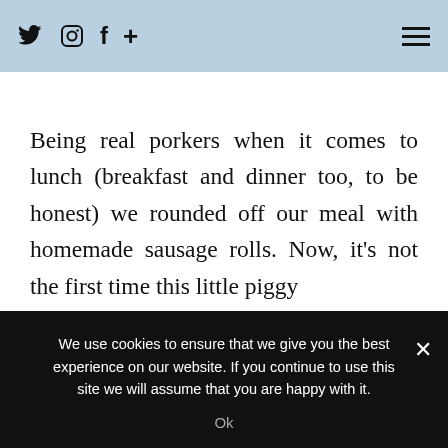Twitter Instagram Facebook + [hamburger menu]
Being real porkers when it comes to lunch (breakfast and dinner too, to be honest) we rounded off our meal with homemade sausage rolls. Now, it’s not the first time this little piggy
We use cookies to ensure that we give you the best experience on our website. If you continue to use this site we will assume that you are happy with it.
Ok